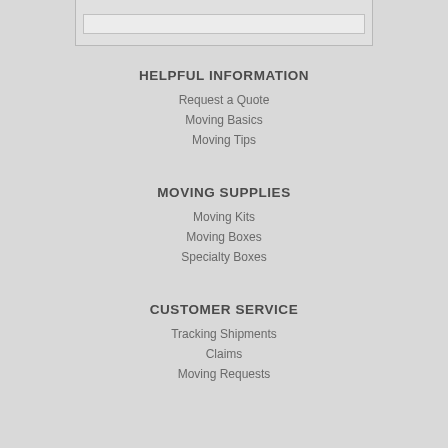HELPFUL INFORMATION
Request a Quote
Moving Basics
Moving Tips
MOVING SUPPLIES
Moving Kits
Moving Boxes
Specialty Boxes
CUSTOMER SERVICE
Tracking Shipments
Claims
Moving Requests